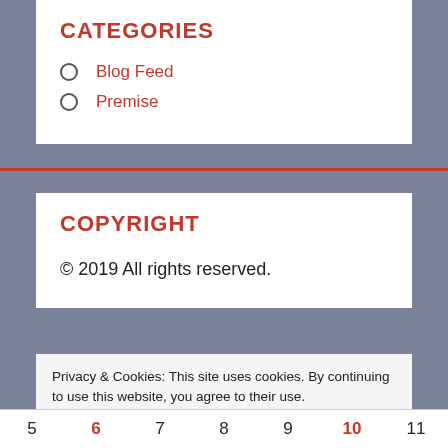CATEGORIES
Blog Feed
Premise
COPYRIGHT
© 2019 All rights reserved.
Privacy & Cookies: This site uses cookies. By continuing to use this website, you agree to their use.
To find out more, including how to control cookies, see here: Cookie Policy
Close and accept
5  6  7  8  9  10  11